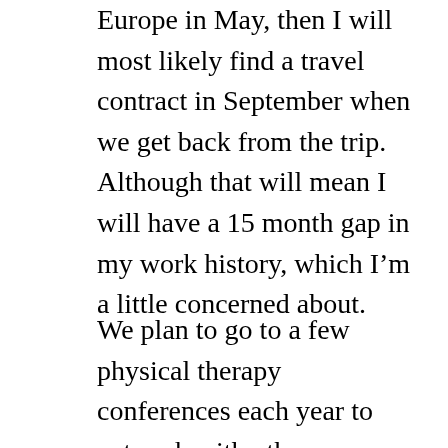Europe in May, then I will most likely find a travel contract in September when we get back from the trip. Although that will mean I will have a 15 month gap in my work history, which I'm a little concerned about.
We plan to go to a few physical therapy conferences each year to network with other therapists and students and talk about travel therapy as well as finances and how these things have so positively impacted our lives. I may not be as ravenous with learning new things about personal finance and investing as I once was, but I still enjoy writing and talking about it. I'm also not nearly as involved with travel therapy as I once was, but I have learned a ton and want to spread the knowledge and let others know that